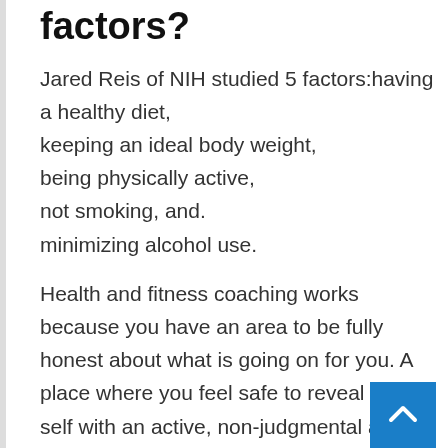factors?
Jared Reis of NIH studied 5 factors:having a healthy diet,
keeping an ideal body weight,
being physically active,
not smoking, and.
minimizing alcohol use.
Health and fitness coaching works because you have an area to be fully honest about what is going on for you. A place where you feel safe to reveal your self with an active, non-judgmental and objective listener.
The Best Health And Fitness Membership In Patterson, Ca